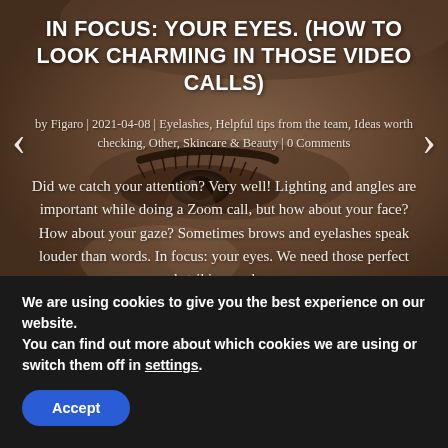[Figure (photo): Close-up photo of a person's eye area with eyebrows and eyelashes, warm brown skin tones, serving as hero background for a beauty/skincare article]
IN FOCUS: YOUR EYES. (HOW TO LOOK CHARMING IN THOSE VIDEO CALLS)
by Figaro | 2021-04-08 | Eyelashes, Helpful tips from the team, Ideas worth checking, Other, Skincare & Beauty | 0 Comments
Did we catch your attention? Very well! Lighting and angles are important while doing a Zoom call, but how about your face? How about your gaze? Sometimes brows and eyelashes speak louder than words. In focus: your eyes. We need those perfect and striking eyebrows.
We are using cookies to give you the best experience on our website.
You can find out more about which cookies we are using or switch them off in settings.
Accept